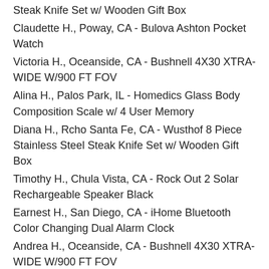Steak Knife Set w/ Wooden Gift Box
Claudette H., Poway, CA - Bulova Ashton Pocket Watch
Victoria H., Oceanside, CA - Bushnell 4X30 XTRA-WIDE W/900 FT FOV
Alina H., Palos Park, IL - Homedics Glass Body Composition Scale w/ 4 User Memory
Diana H., Rcho Santa Fe, CA - Wusthof 8 Piece Stainless Steel Steak Knife Set w/ Wooden Gift Box
Timothy H., Chula Vista, CA - Rock Out 2 Solar Rechargeable Speaker Black
Earnest H., San Diego, CA - iHome Bluetooth Color Changing Dual Alarm Clock
Andrea H., Oceanside, CA - Bushnell 4X30 XTRA-WIDE W/900 FT FOV
Shane H., Bozeman, MT - RazorUltra Rechargeable 12000mAh Battery
Curtis H., El Cajon, CA - iHome Bluetooth Color Changing Dual Alarm Clock
Kevin H., Prt Washingtn, WI - Hamilton Beach 1.7 Liter